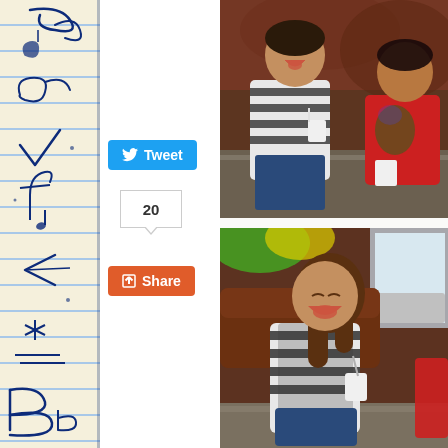[Figure (illustration): Decorative notebook-style left sidebar with blue horizontal lines and hand-drawn blue cursive/decorative letter forms and musical notes on cream background]
[Figure (other): Tweet button (blue), share count box showing 20, and Share button (orange-red) stacked vertically]
[Figure (photo): Top photo: Two children sitting on a sofa/floor with fur rug, one in striped black-and-white top and one in red, both holding small white cups and smiling]
[Figure (photo): Bottom photo: A girl in striped black-and-white top sitting on sofa with fur rug, smiling broadly, holding a white cup]